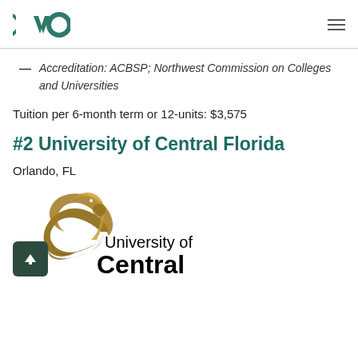CVO (logo)
Accreditation: ACBSP; Northwest Commission on Colleges and Universities
Tuition per 6-month term or 12-units: $3,575
#2 University of Central Florida
Orlando, FL
[Figure (logo): University of Central Florida logo with golden Pegasus icon and black text reading 'University of Central']